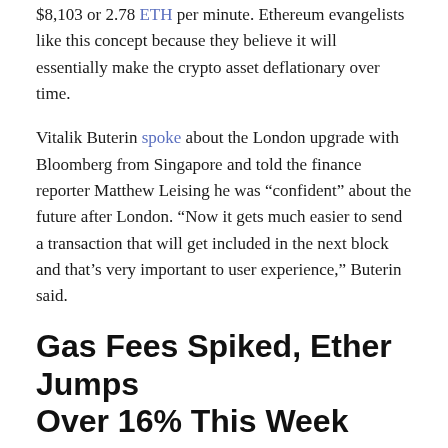$8,103 or 2.78 ETH per minute. Ethereum evangelists like this concept because they believe it will essentially make the crypto asset deflationary over time.
Vitalik Buterin spoke about the London upgrade with Bloomberg from Singapore and told the finance reporter Matthew Leising he was “confident” about the future after London. “Now it gets much easier to send a transaction that will get included in the next block and that’s very important to user experience,” Buterin said.
Gas Fees Spiked, Ether Jumps Over 16% This Week
However, on the downside, ETH users did notice that the average ETH transaction fee jumped following the fork. For instance, on August 2, the average fee was around